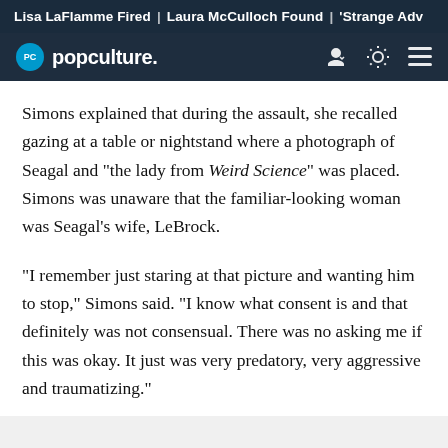Lisa LaFlamme Fired | Laura McCulloch Found | 'Strange Adv
PC popculture.
Simons explained that during the assault, she recalled gazing at a table or nightstand where a photograph of Seagal and "the lady from Weird Science" was placed. Simons was unaware that the familiar-looking woman was Seagal's wife, LeBrock.
"I remember just staring at that picture and wanting him to stop," Simons said. "I know what consent is and that definitely was not consensual. There was no asking me if this was okay. It just was very predatory, very aggressive and traumatizing."